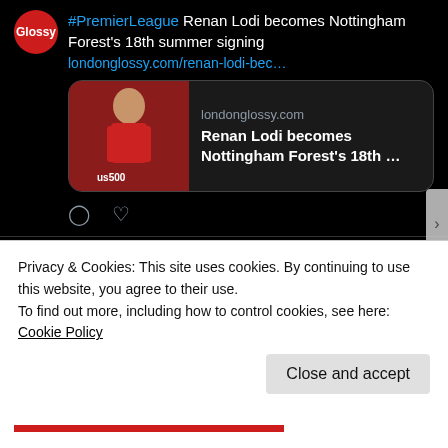[Figure (screenshot): Tweet from London Glossy about Renan Lodi becoming Nottingham Forest's 18th summer signing with a link card showing a footballer in a red and blue jersey]
[Figure (screenshot): Tweet from London Glossy about Barcelona footballer Aubameyang attacked at home by masked raiders]
Privacy & Cookies: This site uses cookies. By continuing to use this website, you agree to their use.
To find out more, including how to control cookies, see here: Cookie Policy
Close and accept